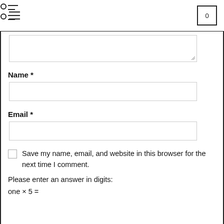Logo and navigation header with hamburger menu, logo symbol, and cart icon showing 0
Name *
Email *
Save my name, email, and website in this browser for the next time I comment.
Please enter an answer in digits: